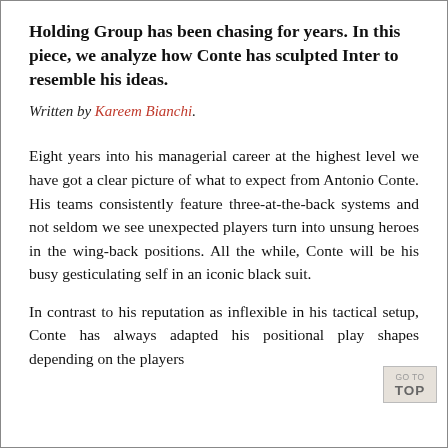Holding Group has been chasing for years. In this piece, we analyze how Conte has sculpted Inter to resemble his ideas.
Written by Kareem Bianchi.
Eight years into his managerial career at the highest level we have got a clear picture of what to expect from Antonio Conte. His teams consistently feature three-at-the-back systems and not seldom we see unexpected players turn into unsung heroes in the wing-back positions. All the while, Conte will be his busy gesticulating self in an iconic black suit.
In contrast to his reputation as inflexible in his tactical setup, Conte has always adapted his positional play shapes depending on the players